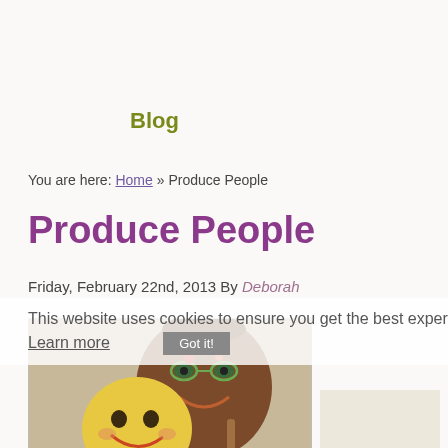Blog
You are here: Home » Produce People
Produce People
Friday, February 22nd, 2013 By Deborah
This website uses cookies to ensure you get the best experience on our website. Learn more Got it!
[Figure (photo): Decorative food characters made from produce — a smiling potato figure with glasses and a yellow smiley face character, handcrafted craft figures]